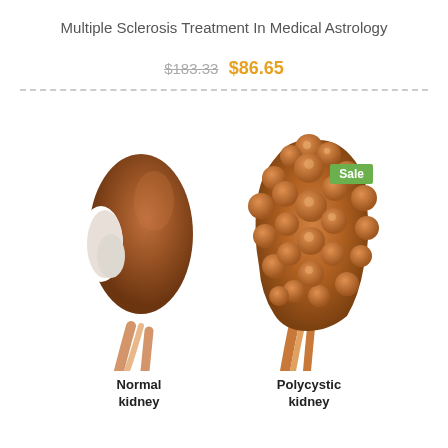Multiple Sclerosis Treatment In Medical Astrology
$183.33 $86.65
[Figure (illustration): Two kidney illustrations side by side: a smooth normal kidney on the left labeled 'Normal kidney', and a bumpy polycystic kidney on the right labeled 'Polycystic kidney'. The polycystic kidney has a green 'Sale' badge at top right.]